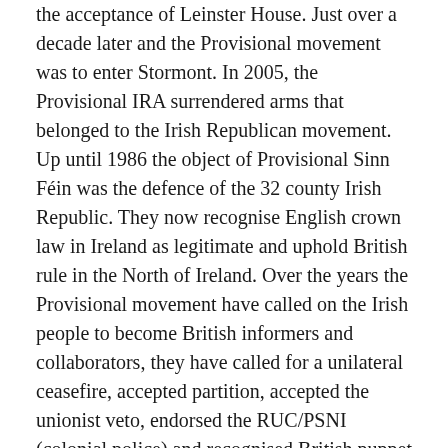the acceptance of Leinster House. Just over a decade later and the Provisional movement was to enter Stormont. In 2005, the Provisional IRA surrendered arms that belonged to the Irish Republican movement. Up until 1986 the object of Provisional Sinn Féin was the defence of the 32 county Irish Republic. They now recognise English crown law in Ireland as legitimate and uphold British rule in the North of Ireland. Over the years the Provisional movement have called on the Irish people to become British informers and collaborators, they have called for a unilateral ceasefire, accepted partition, accepted the unionist veto, endorsed the RUC/PSNI (colonial police) and recognised British puppet parliaments.